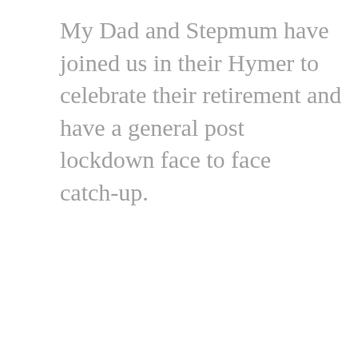My Dad and Stepmum have joined us in their Hymer to celebrate their retirement and have a general post lockdown face to face catch-up.